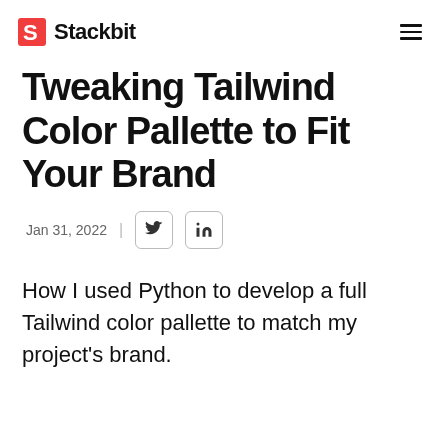Stackbit
Tweaking Tailwind Color Pallette to Fit Your Brand
Jan 31, 2022
How I used Python to develop a full Tailwind color pallette to match my project's brand.